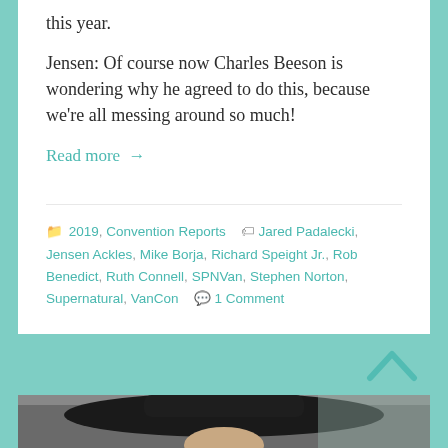this year.
Jensen: Of course now Charles Beeson is wondering why he agreed to do this, because we're all messing around so much!
Read more →
📁 2019, Convention Reports 🏷 Jared Padalecki, Jensen Ackles, Mike Borja, Richard Speight Jr., Rob Benedict, Ruth Connell, SPNVan, Stephen Norton, Supernatural, VanCon 💬 1 Comment
[Figure (photo): Photo of a person wearing a wide-brimmed black hat, partially visible at the bottom of the page]